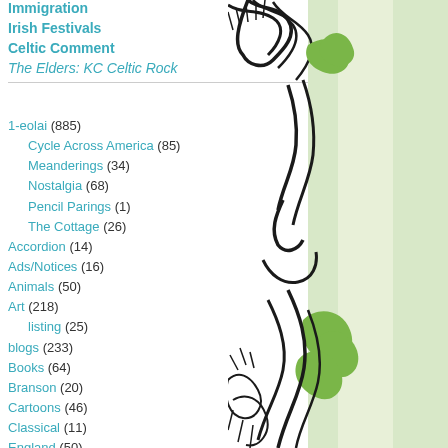Immigration
Irish Festivals
Celtic Comment
The Elders: KC Celtic Rock
Categories
1-eolai (885)
Cycle Across America (85)
Meanderings (34)
Nostalgia (68)
Pencil Parings (1)
The Cottage (26)
Accordion (14)
Ads/Notices (16)
Animals (50)
Art (218)
listing (25)
blogs (233)
Books (64)
Branson (20)
Cartoons (46)
Classical (11)
England (50)
Events (1033)
FA Irish Q (33)
Festivals (283)
Fingal (1)
Food & Drink (159)
Gaeilge (42)
Is Ireland Really Green, Potato-Eating, and Red-Haired ? (14)
Leigh Pagenkopf, cyrell, Eolai, Nicolas Martin, Ellen K., eolai [...]
Driscoll School of Irish Dance in Shawnee, Kansas (1)
Theresa Gavila
An Irish Sausage is NOT a Banger (9)
Stee, fred beamish, Arnold, Donald McCall, Marie Hughes, Eolai gan Fhéile [...]
One Million Views: Avicii Vs Lurgan (1)
Logtar
Midwest Irish Focus Changes Location (2)
Colins Smith